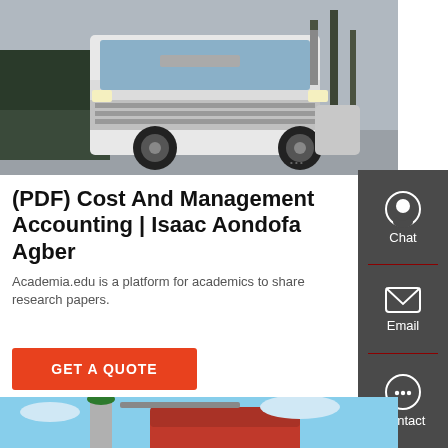[Figure (photo): White HOWO semi-truck cab parked in a lot with trees in background]
(PDF) Cost And Management Accounting | Isaac Aondofa Agber
Academia.edu is a platform for academics to share research papers.
[Figure (other): GET A QUOTE button (red)]
[Figure (other): Sidebar with Chat, Email, Contact icons on dark background]
[Figure (photo): Industrial truck or machinery photo with silo/tower and blue sky]